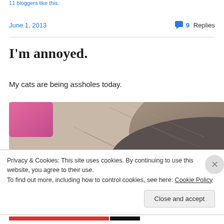11 bloggers like this.
June 1, 2013   💬 9 Replies
I'm annoyed.
My cats are being assholes today.
[Figure (photo): Close-up photo of a cat's fur, gray/brown colored, with a pink object in the upper left corner]
Privacy & Cookies: This site uses cookies. By continuing to use this website, you agree to their use.
To find out more, including how to control cookies, see here: Cookie Policy
Close and accept